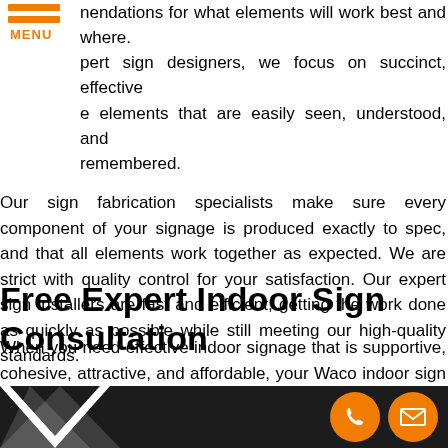[Figure (other): Orange hamburger menu icon with two horizontal bars and MENU text label below]
nendations for what elements will work best and where. pert sign designers, we focus on succinct, effective e elements that are easily seen, understood, and remembered.
Our sign fabrication specialists make sure every component of your signage is produced exactly to spec, and that all elements work together as expected. We are strict with quality control for your satisfaction. Our expert sign installers are fast and efficient, getting the work done as quickly as possible while still meeting our high-quality standards.
When you need effective indoor signage that is supportive, cohesive, attractive, and affordable, your Waco indoor sign professionals at VitalSigns will deliver exactly that.
Free Expert Indoor Sign Consultation
[Figure (other): Dark footer bar with white triangle/chevron on left and two orange circular icon buttons (phone and envelope) on the right]